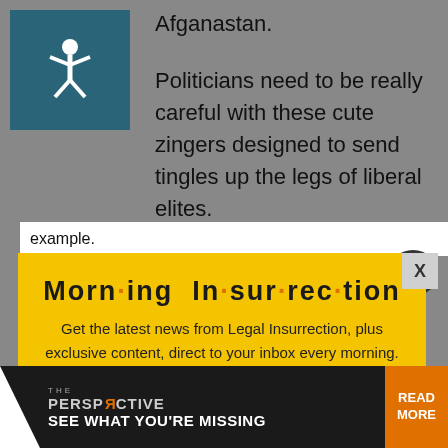Afganastan.
Politicians need to be really careful with these cute zingers designed to send tingles up the legs of liberal elites.
[Figure (screenshot): Modal popup on yellow background. Title: 'Morn·ing In·sur·rec·tion'. Body: 'Get the latest news from Legal Insurrection, plus exclusive content, direct to your inbox every morning. Subscribe today – it's free!' with an orange JOIN NOW button.]
example.
If his future is uncertain at the Li...
[Figure (infographic): THE PERSPECTIVE advertisement banner with 'SEE WHAT YOU'RE MISSING' and READ MORE button.]
one of the casinos in Las Vegas can put